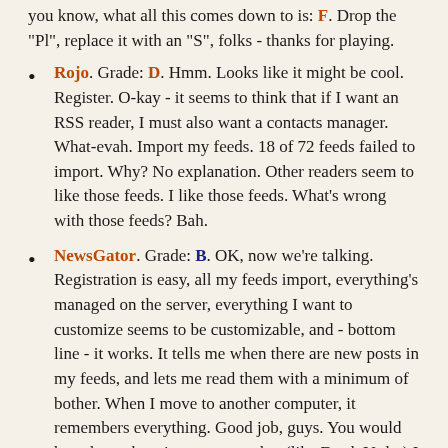you know, what all this comes down to is: F. Drop the "Pl", replace it with an "S", folks - thanks for playing.
Rojo. Grade: D. Hmm. Looks like it might be cool. Register. O-kay - it seems to think that if I want an RSS reader, I must also want a contacts manager. What-evah. Import my feeds. 18 of 72 feeds failed to import. Why? No explanation. Other readers seem to like those feeds. I like those feeds. What's wrong with those feeds? Bah.
NewsGator. Grade: B. OK, now we're talking. Registration is easy, all my feeds import, everything's managed on the server, everything I want to customize seems to be customizable, and - bottom line - it works. It tells me when there are new posts in my feeds, and lets me read them with a minimum of bother. When I move to another computer, it remembers everything. Good job, guys. You would have been the winner, except that (like Darth Vader) I am forgiving, and I decided to give the final contender another try, even though their servers were down when I first tried